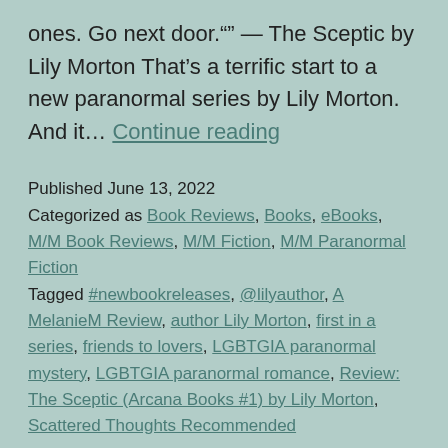ones. Go next door."" — The Sceptic by Lily Morton That's a terrific start to a new paranormal series by Lily Morton. And it… Continue reading
Published June 13, 2022
Categorized as Book Reviews, Books, eBooks, M/M Book Reviews, M/M Fiction, M/M Paranormal Fiction
Tagged #newbookreleases, @lilyauthor, A MelanieM Review, author Lily Morton, first in a series, friends to lovers, LGBTGIA paranormal mystery, LGBTGIA paranormal romance, Review: The Sceptic (Arcana Books #1) by Lily Morton, Scattered Thoughts Recommended